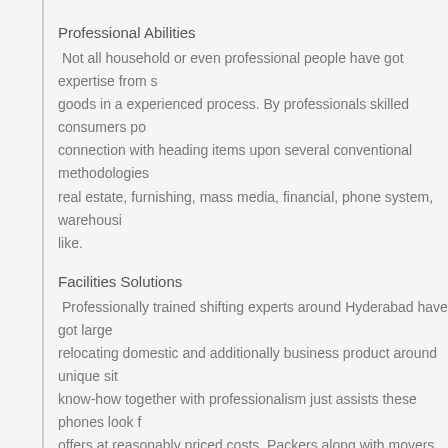Professional Abilities
Not all household or even professional people have got expertise from s goods in a experienced process. By professionals skilled consumers po connection with heading items upon several conventional methodologies real estate, furnishing, mass media, financial, phone system, warehousi like.
Facilities Solutions
Professionally trained shifting experts around Hyderabad have got large relocating domestic and additionally business product around unique sit know-how together with professionalism just assists these phones look f offers at reasonably priced costs. Packers along with movers in Hyderab involving well managed lightweight in addition to heavy duty cars and tr
Autos Moving Services
Are you looking to shift your car in place to a further set? In case you ar